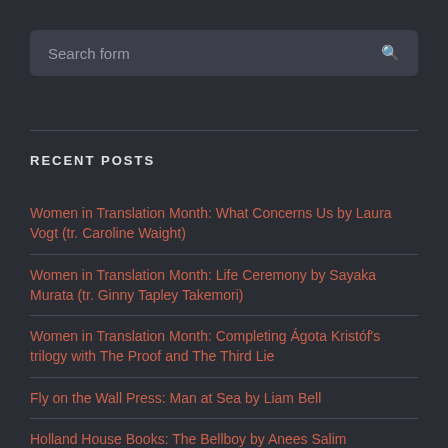Search form
RECENT POSTS
Women in Translation Month: What Concerns Us by Laura Vogt (tr. Caroline Waight)
Women in Translation Month: Life Ceremony by Sayaka Murata (tr. Ginny Tapley Takemori)
Women in Translation Month: Completing Ágota Kristóf's trilogy with The Proof and The Third Lie
Fly on the Wall Press: Man at Sea by Liam Bell
Holland House Books: The Bellboy by Anees Salim